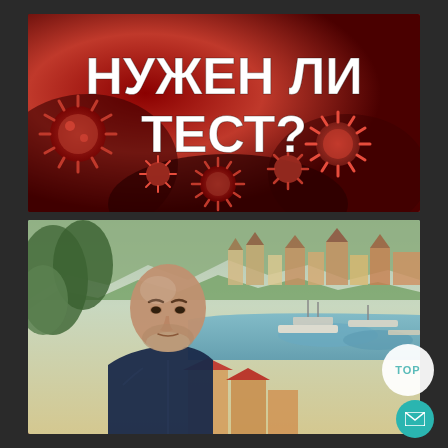[Figure (photo): Red background with coronavirus particles (COVID-19 virus cells, dark red/crimson microscopic imagery) with large white bold Cyrillic text 'НУЖЕН ЛИ ТЕСТ?' (meaning 'IS A TEST NEEDED?')]
[Figure (photo): Selfie of a bald middle-aged man with a short gray beard wearing a dark blue jacket, taken outdoors with a scenic harbor/marina view in the background (likely Monaco or similar Mediterranean city), showing colorful buildings, boats, and a blue bay]